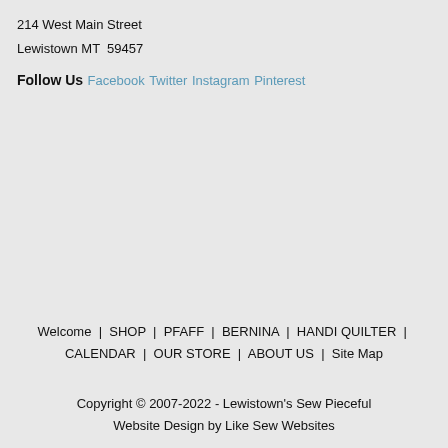214 West Main Street
Lewistown MT  59457
Follow Us
Facebook
Twitter
Instagram
Pinterest
Welcome  |  SHOP  |  PFAFF  |  BERNINA  |  HANDI QUILTER  |  CALENDAR  |  OUR STORE  |  ABOUT US  |  Site Map
Copyright © 2007-2022 - Lewistown's Sew Pieceful Website Design by Like Sew Websites